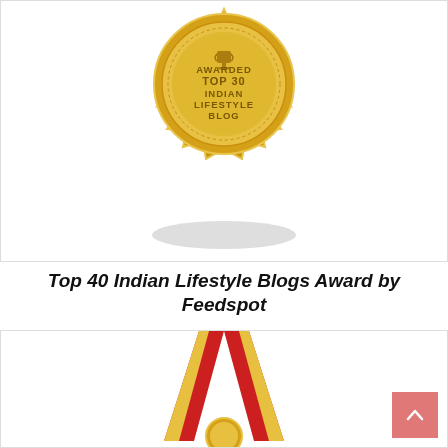[Figure (illustration): Gold award badge/seal with serrated edge, trophy icon at top, text reading AWARDED TOP 30 INDIAN LIFESTYLE BLOG, with a drop shadow beneath]
Top 40 Indian Lifestyle Blogs Award by Feedspot
[Figure (illustration): Red and gold medal/trophy with ribbon straps forming a V-shape, partially visible at bottom of page]